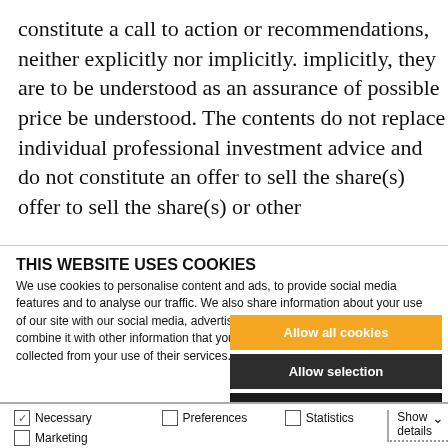constitute a call to action or recommendations, neither explicitly nor implicitly. implicitly, they are to be understood as an assurance of possible price be understood. The contents do not replace individual professional investment advice and do not constitute an offer to sell the share(s) offer to sell the share(s) or other
THIS WEBSITE USES COOKIES
We use cookies to personalise content and ads, to provide social media features and to analyse our traffic. We also share information about your use of our site with our social media, advertising and analytics partners who may combine it with other information that you've provided to them or that they've collected from your use of their services.
Allow all cookies
Allow selection
Use necessary cookies only
Necessary  Preferences  Statistics  Show details  Marketing